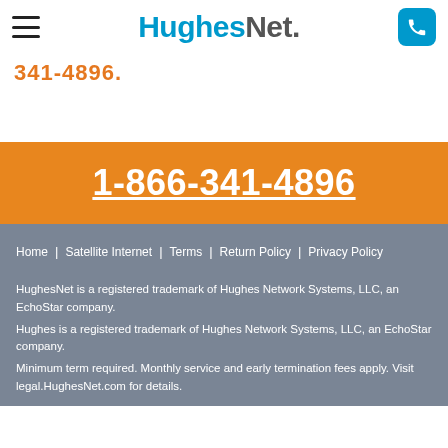HughesNet.
341-4896.
1-866-341-4896
Home | Satellite Internet | Terms | Return Policy | Privacy Policy
HughesNet is a registered trademark of Hughes Network Systems, LLC, an EchoStar company.
Hughes is a registered trademark of Hughes Network Systems, LLC, an EchoStar company.
Minimum term required. Monthly service and early termination fees apply. Visit legal.HughesNet.com for details.